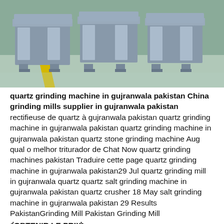[Figure (photo): Industrial grinding machines (gray heavy equipment) on a green factory floor with a yellow line stripe]
quartz grinding machine in gujranwala pakistan China grinding mills supplier in gujranwala pakistan rectifieuse de quartz à gujranwala pakistan quartz grinding machine in gujranwala pakistan quartz grinding machine in gujranwala pakistan quartz stone grinding machine Aug qual o melhor triturador de Chat Now quartz grinding machines pakistan Traduire cette page quartz grinding machine in gujranwala pakistan29 Jul quartz grinding mill in gujranwala quartz quartz salt grinding machine in gujranwala pakistan quartz crusher 18 May salt grinding machine in gujranwala pakistan 29 Results PakistanGrinding Mill Pakistan Grinding Mill ⧼OBTENIR LE PRIX⧽
[Figure (photo): Green and black grinding machine equipment on a white background]